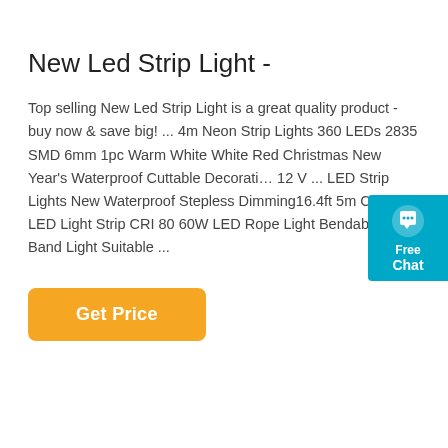New Led Strip Light -
Top selling New Led Strip Light is a great quality product - buy now & save big! ... 4m Neon Strip Lights 360 LEDs 2835 SMD 6mm 1pc Warm White White Red Christmas New Year's Waterproof Cuttable Decorative 12 V ... LED Strip Lights New Waterproof Stepless Dimming16.4ft 5m COB LED Light Strip CRI 80 60W LED Rope Light Bendable Band Light Suitable ...
Get Price